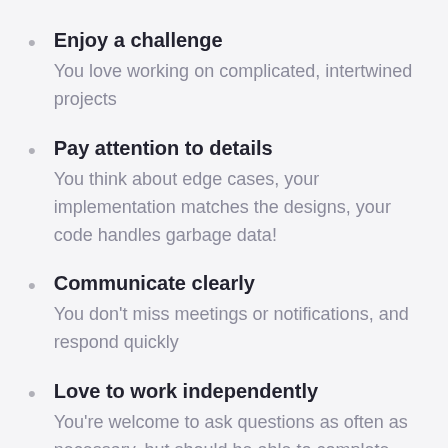Enjoy a challenge
You love working on complicated, intertwined projects
Pay attention to details
You think about edge cases, your implementation matches the designs, your code handles garbage data!
Communicate clearly
You don't miss meetings or notifications, and respond quickly
Love to work independently
You're welcome to ask questions as often as necessary, but should be able to complete